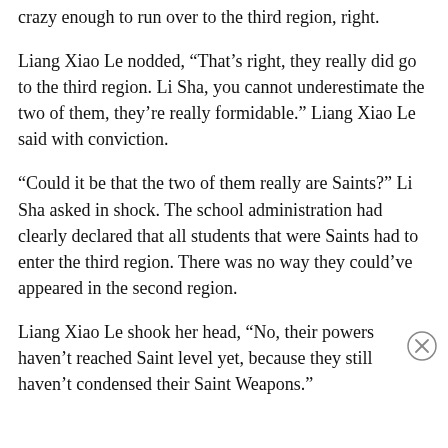crazy enough to run over to the third region, right.
Liang Xiao Le nodded, “That’s right, they really did go to the third region. Li Sha, you cannot underestimate the two of them, they’re really formidable.” Liang Xiao Le said with conviction.
“Could it be that the two of them really are Saints?” Li Sha asked in shock. The school administration had clearly declared that all students that were Saints had to enter the third region. There was no way they could’ve appeared in the second region.
Liang Xiao Le shook her head, “No, their powers haven’t reached Saint level yet, because they still haven’t condensed their Saint Weapons.”